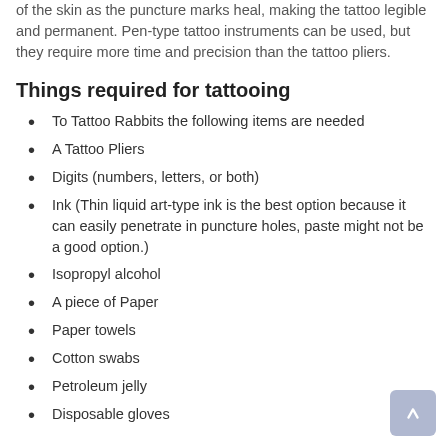of the skin as the puncture marks heal, making the tattoo legible and permanent. Pen-type tattoo instruments can be used, but they require more time and precision than the tattoo pliers.
Things required for tattooing
To Tattoo Rabbits the following items are needed
A Tattoo Pliers
Digits (numbers, letters, or both)
Ink (Thin liquid art-type ink is the best option because it can easily penetrate in puncture holes, paste might not be a good option.)
Isopropyl alcohol
A piece of Paper
Paper towels
Cotton swabs
Petroleum jelly
Disposable gloves